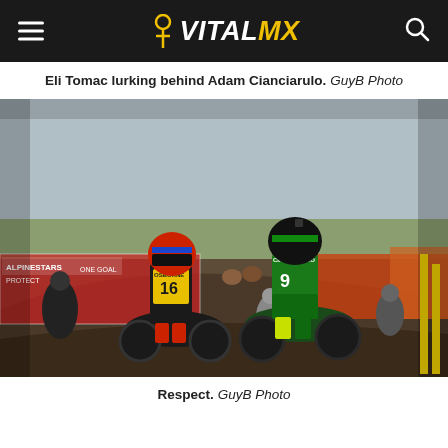VITAL MX
Eli Tomac lurking behind Adam Cianciarulo. GuyB Photo
[Figure (photo): Two motocross riders on dirt bikes fist bumping or greeting each other on a dirt track. Left rider wears black and yellow gear with number 16 (Osborne), right rider wears green Kawasaki gear with number 9 (Cianciarulo). Alpinestars and other sponsor banners visible in background. Outdoor motocross venue.]
Respect. GuyB Photo